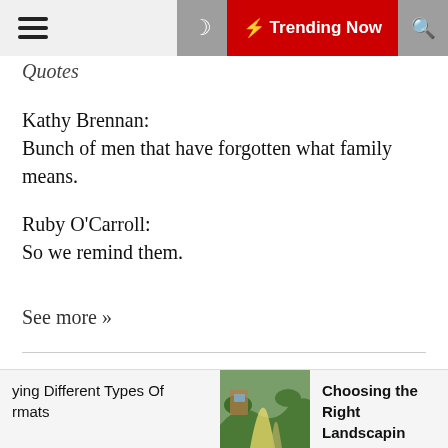Quotes | Trending Now
Quotes
Kathy Brennan:
Bunch of men that have forgotten what family means.
Ruby O'Carroll:
So we remind them.
See more »
Crazy Credits
Retro-style versions of the Warner Bros. and New Line Cinema logos are used, suiting the film's 1970s setting. See more »
[Figure (photo): Landscaping garden path photo thumbnail]
ying Different Types Of rmats
Choosing the Right Landscaping Designer